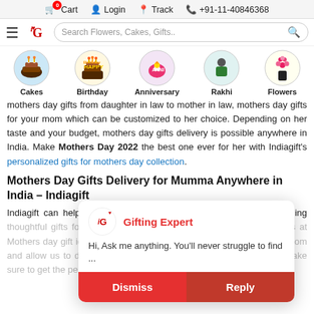🛒 Cart  👤 Login  📍 Track  📞 +91-11-40846368
[Figure (screenshot): Website navigation bar with hamburger menu, iG logo, and search box for Flowers, Cakes, Gifts]
[Figure (infographic): Category icons: Cakes, Birthday, Anniversary, Rakhi, Flowers]
mothers day gifts from daughter in law to mother in law, mothers day gifts for your mom which can be customized to her choice. Depending on her taste and your budget, mothers day gifts delivery is possible anywhere in India. Make Mothers Day 2022 the best one ever for her with Indiagift's personalized gifts for mothers day collection.
Mothers Day Gifts Delivery for Mumma Anywhere in India – Indiagift
Indiagift can help you deliver your love to your mom through sending thoughtful gifts for mothers day. Grab some help from our resources at Mothers day gift ideas for getting awesome gifts for mothers day for mom and allow us to deliver to your city. Wherever your mom lives, we make sure to get the perfect gift to her with ma...
[Figure (screenshot): Chat popup with iG Gifting Expert logo, text 'Hi, Ask me anything. You'll never struggle to find ...' and Dismiss/Reply buttons]